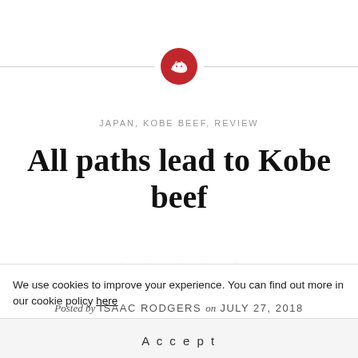[Figure (logo): Red circle with white cow/beef icon, flanked by horizontal grey lines]
JAPAN, KOBE BEEF, REVIEW
All paths lead to Kobe beef
[Figure (infographic): 4.5 out of 5 red stars rating]
Posted by ISAAC RODGERS on JULY 27, 2018
We use cookies to improve your experience. You can find out more in our cookie policy here
Accept